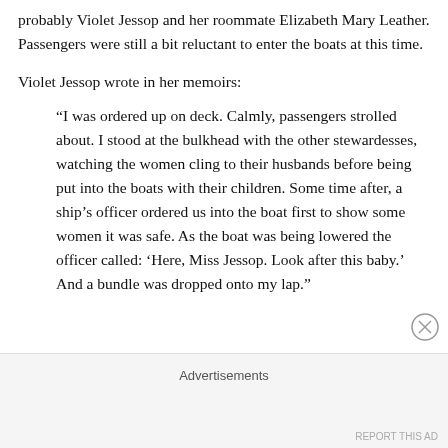probably Violet Jessop and her roommate Elizabeth Mary Leather. Passengers were still a bit reluctant to enter the boats at this time.
Violet Jessop wrote in her memoirs:
“I was ordered up on deck. Calmly, passengers strolled about. I stood at the bulkhead with the other stewardesses, watching the women cling to their husbands before being put into the boats with their children. Some time after, a ship’s officer ordered us into the boat first to show some women it was safe. As the boat was being lowered the officer called: ‘Here, Miss Jessop. Look after this baby.’ And a bundle was dropped onto my lap.”
Advertisements